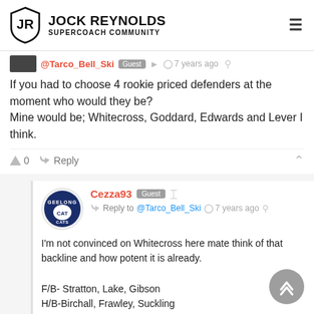JOCK REYNOLDS SUPERCOACH COMMUNITY
@Tarco_Bell_Ski Guest 7 years ago
If you had to choose 4 rookie priced defenders at the moment who would they be?
Mine would be; Whitecross, Goddard, Edwards and Lever I think.
0  Reply
Cezza93 Guest Reply to @Tarco_Bell_Ski 7 years ago
I'm not convinced on Whitecross here mate think of that backline and how potent it is already.

F/B- Stratton, Lake, Gibson
H/B-Birchall, Frawley, Suckling

Other Defenders; Spangher, Duryea, Shoenmakers and Litherland